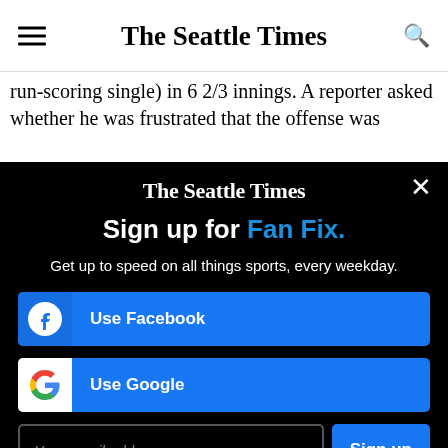The Seattle Times
run-scoring single) in 6 2/3 innings. A reporter asked whether he was frustrated that the offense was
[Figure (screenshot): The Seattle Times newsletter signup modal overlay with dark background. Contains logo, 'Sign up for Fan Fix.' heading, subtitle 'Get up to speed on all things sports, every weekday.', Facebook button, Google button, email input field, Sign up button, and terms text.]
Sign up for Fan Fix.
Get up to speed on all things sports, every weekday.
Use Facebook
Use Google
Your email address
Sign up
By signing up you are agreeing to our Privacy Policy and Terms of Service.